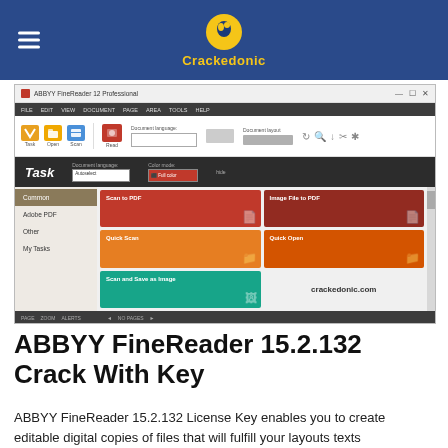Crackedonic
[Figure (screenshot): Screenshot of ABBYY FineReader 12 Professional application window showing the Task panel with options: Scan to PDF, Image File to PDF, Quick Scan, Quick Open, Scan and Save as Image. Sidebar shows Common, Adobe PDF, Other, My Tasks. Watermark text crackedonic.com visible.]
ABBYY FineReader 15.2.132 Crack With Key
ABBYY FineReader 15.2.132 License Key enables you to create editable digital copies of files that will fulfill your layouts texts